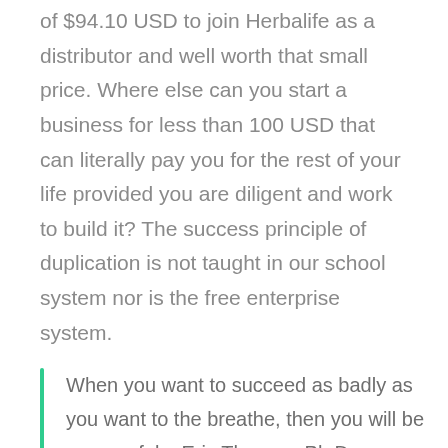of $94.10 USD to join Herbalife as a distributor and well worth that small price. Where else can you start a business for less than 100 USD that can literally pay you for the rest of your life provided you are diligent and work to build it? The success principle of duplication is not taught in our school system nor is the free enterprise system.
When you want to succeed as badly as you want to the breathe, then you will be successful – Eric Thomas, Ph.D., entrepreneur
Let's face it. The majority of people around the